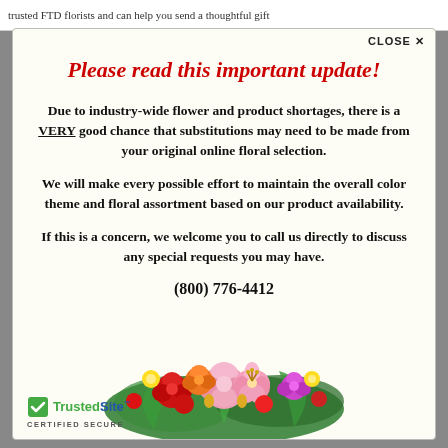trusted FTD florists and can help you send a thoughtful gift
CLOSE ×
Please read this important update!
Due to industry-wide flower and product shortages, there is a VERY good chance that substitutions may need to be made from your original online floral selection.
We will make every possible effort to maintain the overall color theme and floral assortment based on our product availability.
If this is a concern, we welcome you to call us directly to discuss any special requests you may have.
(800) 776-4412
[Figure (photo): Colorful floral bouquet arrangement with roses, lilies, and mixed flowers in pink, red, orange, and purple tones]
TrustedSite CERTIFIED SECURE